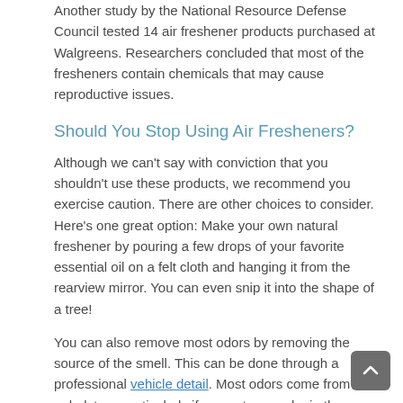Another study by the National Resource Defense Council tested 14 air freshener products purchased at Walgreens. Researchers concluded that most of the fresheners contain chemicals that may cause reproductive issues.
Should You Stop Using Air Fresheners?
Although we can't say with conviction that you shouldn't use these products, we recommend you exercise caution. There are other choices to consider. Here's one great option: Make your own natural freshener by pouring a few drops of your favorite essential oil on a felt cloth and hanging it from the rearview mirror. You can even snip it into the shape of a tree!
You can also remove most odors by removing the source of the smell. This can be done through a professional vehicle detail. Most odors come from the upholstery, particularly if you eat or smoke in the car.